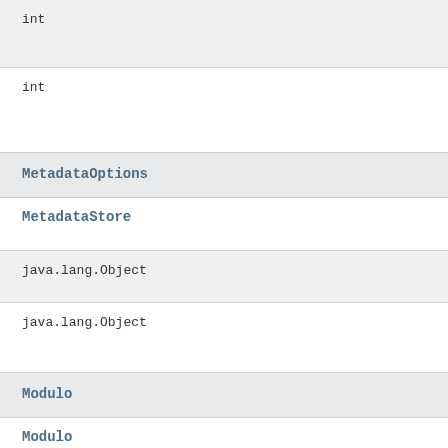int
int
MetadataOptions
MetadataStore
java.lang.Object
java.lang.Object
Modulo
Modulo